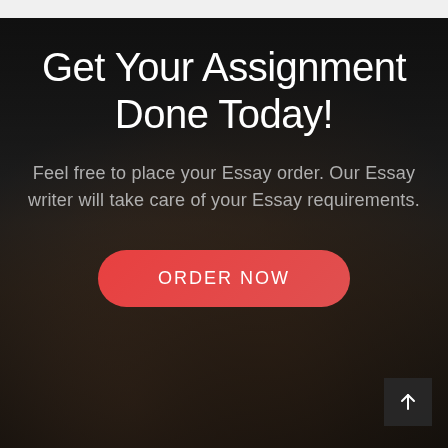Get Your Assignment Done Today!
Feel free to place your Essay order. Our Essay writer will take care of your Essay requirements.
[Figure (other): Red rounded button labeled ORDER NOW on dark background with hands typing on a laptop]
ORDER NOW